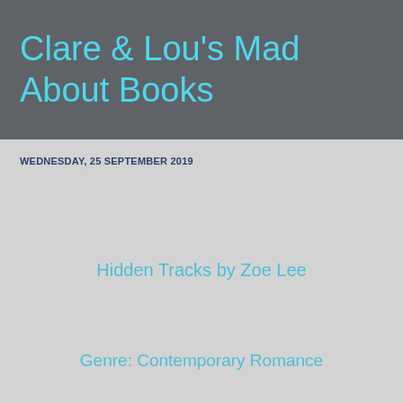Clare & Lou's Mad About Books
WEDNESDAY, 25 SEPTEMBER 2019
Hidden Tracks by Zoe Lee
Genre: Contemporary Romance